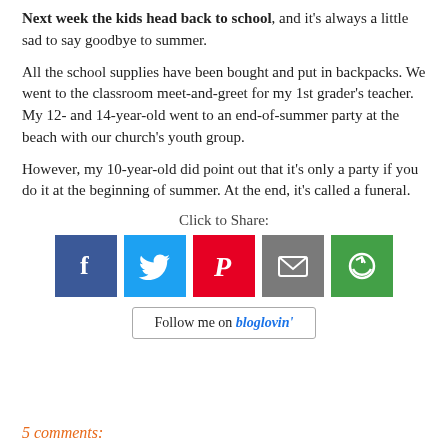Next week the kids head back to school, and it's always a little sad to say goodbye to summer.
All the school supplies have been bought and put in backpacks. We went to the classroom meet-and-greet for my 1st grader's teacher. My 12- and 14-year-old went to an end-of-summer party at the beach with our church's youth group.
However, my 10-year-old did point out that it's only a party if you do it at the beginning of summer. At the end, it's called a funeral.
[Figure (infographic): Click to Share section with social media icons: Facebook (blue), Twitter (light blue), Pinterest (red), Email (gray), More (green), and a Follow me on bloglovin' button]
5 comments: